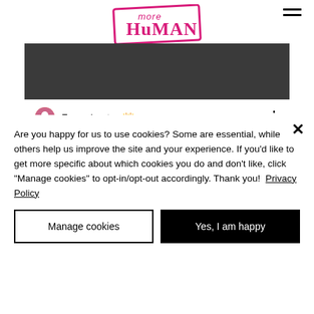[Figure (logo): more HUMAN logo in pink/magenta with a hand-drawn style font inside a rectangular border]
[Figure (photo): Dark grey/charcoal banner image area]
Emma Lawton 👑
Are you happy for us to use cookies? Some are essential, while others help us improve the site and your experience. If you'd like to get more specific about which cookies you do and don't like, click "Manage cookies" to opt-in/opt-out accordingly. Thank you!  Privacy Policy
Manage cookies
Yes, I am happy